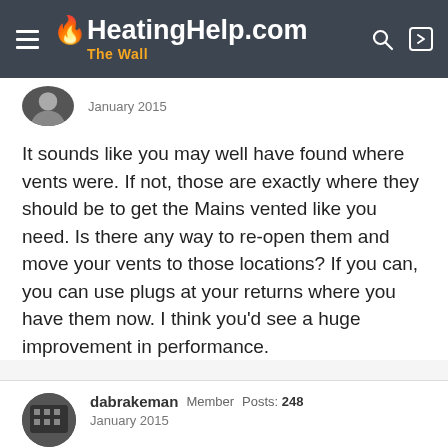HeatingHelp.com The Wall
January 2015
It sounds like you may well have found where vents were. If not, those are exactly where they should be to get the Mains vented like you need. Is there any way to re-open them and move your vents to those locations? If you can, you can use plugs at your returns where you have them now. I think you'd see a huge improvement in performance.
dabrakeman   Member   Posts: 248
January 2015
If the north system as it is now is getting steam to the end of the main in about 3 minutes at which time (for whatever reason) the main vent at the end of the